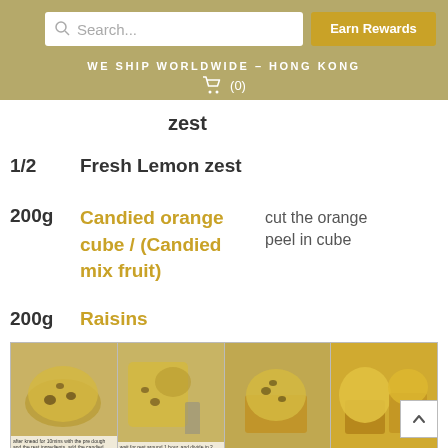WE SHIP WORLDWIDE – HONG KONG | Earn Rewards | Search | Cart (0)
zest
1/2    Fresh Lemon zest
200g   Candied orange cube / (Candied mix fruit)   cut the orange peel in cube
200g   Raisins
[Figure (photo): Four step-by-step photos of panettone dough preparation: mixing dough with candied fruit, kneading, placing in mold, and dough rising above mold top. Captions describe mixing pre-dough for 10 minutes with ingredients and candied butter fat; wait for rest around 1 hour, divide in 2 pieces approx 700g; put in the molds and wait for the other 6 hours; the dough has to rise to the mold top 2.5-3cm.]
1. Knead the dough with day 1 pre-dough for